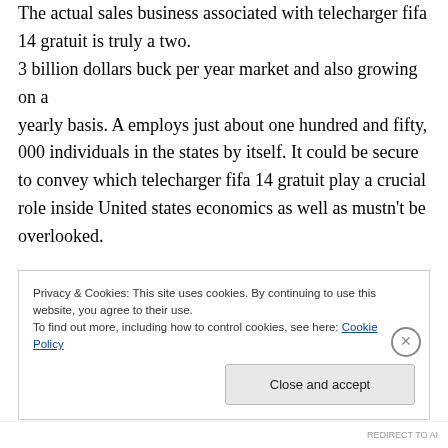The actual sales business associated with telecharger fifa 14 gratuit is truly a two. 3 billion dollars buck per year market and also growing on a yearly basis. A employs just about one hundred and fifty, 000 individuals in the states by itself. It could be secure to convey which telecharger fifa 14 gratuit play a crucial role inside United states economics as well as mustn't be overlooked.
Privacy & Cookies: This site uses cookies. By continuing to use this website, you agree to their use. To find out more, including how to control cookies, see here: Cookie Policy
Close and accept